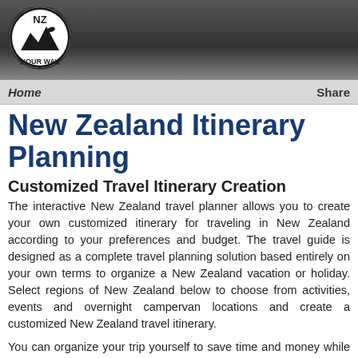[Figure (logo): NZ Your Way logo — circular black and white badge with mountain/bird silhouette and text 'NZ YOUR WAY']
Home    Share
New Zealand Itinerary Planning
Customized Travel Itinerary Creation
The interactive New Zealand travel planner allows you to create your own customized itinerary for traveling in New Zealand according to your preferences and budget. The travel guide is designed as a complete travel planning solution based entirely on your own terms to organize a New Zealand vacation or holiday. Select regions of New Zealand below to choose from activities, events and overnight campervan locations and create a customized New Zealand travel itinerary.
You can organize your trip yourself to save time and money while ensuring that travel plans are free from agency imposed constraints and costs. Empower yourself as an independent explorer and create the right New Zealand itinerary for you.    LET'S GO
Travel Tips and Resources
Useful tips for traveling in New Zealand as well as resources for planning your travel to and within the country are available